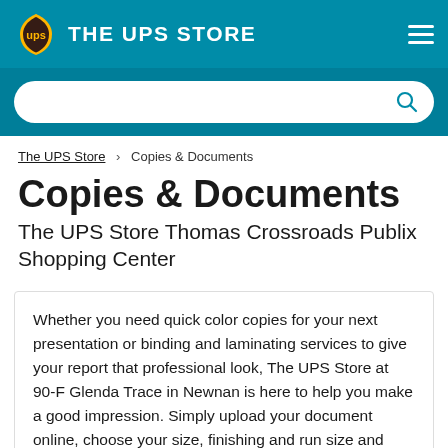[Figure (logo): The UPS Store logo with UPS shield icon and hamburger menu on teal header bar]
THE UPS STORE
Search bar
The UPS Store > Copies & Documents
Copies & Documents
The UPS Store Thomas Crossroads Publix Shopping Center
Whether you need quick color copies for your next presentation or binding and laminating services to give your report that professional look, The UPS Store at 90-F Glenda Trace in Newnan is here to help you make a good impression. Simply upload your document online, choose your size, finishing and run size and pickup your materials on your schedule